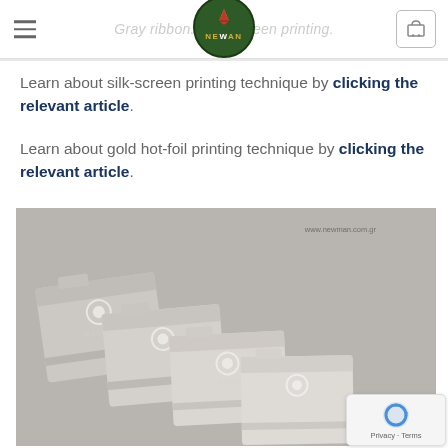Gray ribbon... silk-screen printing.
Learn about silk-screen printing technique by clicking the relevant article.
Learn about gold hot-foil printing technique by clicking the relevant article.
[Figure (photo): Four gray fabric pouches/envelopes with white printed logos arranged diagonally on a gray background, with www.newman.com.gr watermark in top right corner.]